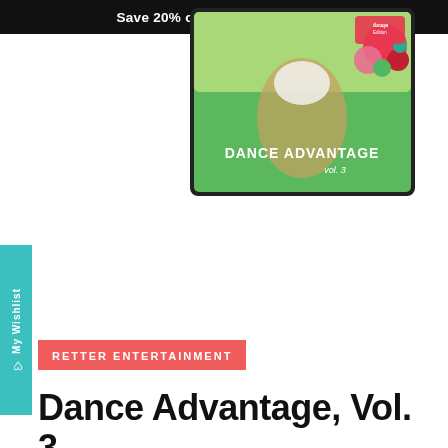Save 20% on Dance Class Plans
[Figure (photo): Album cover for Dance Advantage Vol. 3 showing a dancer in a white costume on a green background with colorful circular decorations in the top right corner. The text 'DANCE ADVANTAGE vol. 3' appears on the cover.]
♡ My Wishlist
RETTER ENTERTAINMENT
Dance Advantage, Vol. 3